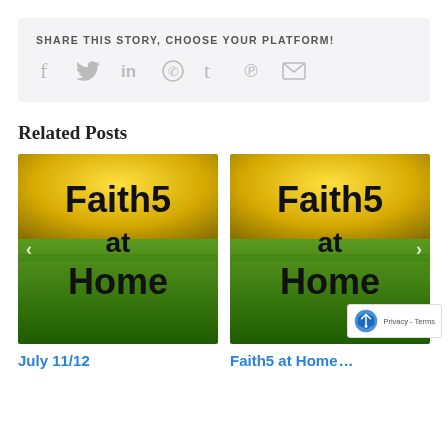SHARE THIS STORY, CHOOSE YOUR PLATFORM!
[Figure (infographic): Social sharing icons: Facebook, Twitter, LinkedIn, WhatsApp, Tumblr, Pinterest, Email]
Related Posts
[Figure (photo): Faith5 at Home promotional image with yellow and green grass background, bold black text reading 'Faith5 at Home', with left navigation arrow]
July 11/12
[Figure (photo): Faith5 at Home promotional image with yellow and green grass background, bold black text reading 'Faith5 at Home', with right navigation arrow]
Faith5 at Home